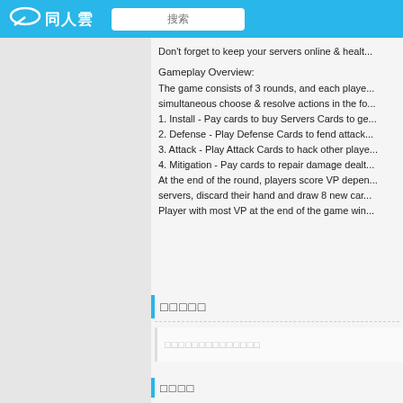同人雲  搜索
Don't forget to keep your servers online & healt...
Gameplay Overview:
The game consists of 3 rounds, and each player simultaneous choose & resolve actions in the fo...
1. Install - Pay cards to buy Servers Cards to ge...
2. Defense - Play Defense Cards to fend attack...
3. Attack - Play Attack Cards to hack other playe...
4. Mitigation - Pay cards to repair damage dealt...
At the end of the round, players score VP depen... servers, discard their hand and draw 8 new car... Player with most VP at the end of the game win...
□□□□□
□□□□□□□□□□□□□□
□□□□